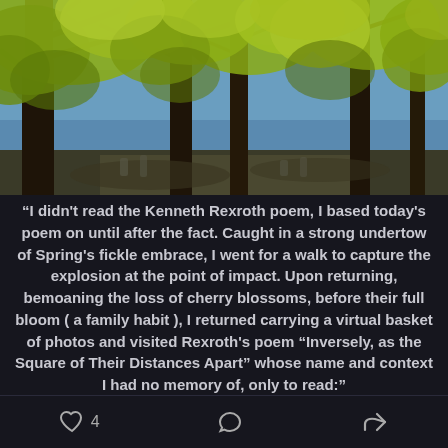[Figure (photo): Outdoor photo of large trees with bright yellow-green spring foliage against a blue sky, with dark branches visible and what appears to be a park or cemetery path]
“I didn’t read the Kenneth Rexroth poem, I based today’s poem on until after the fact. Caught in a strong undertow of Spring’s fickle embrace, I went for a walk to capture the explosion at the point of impact. Upon returning, bemoaning the loss of cherry blossoms, before their full bloom ( a family habit ), I returned carrying a virtual basket of photos and visited Rexroth’s poem “Inversely, as the Square of Their Distances Apart” whose name and context I had no memory of, only to read:”
4  [comment icon]  [share icon]